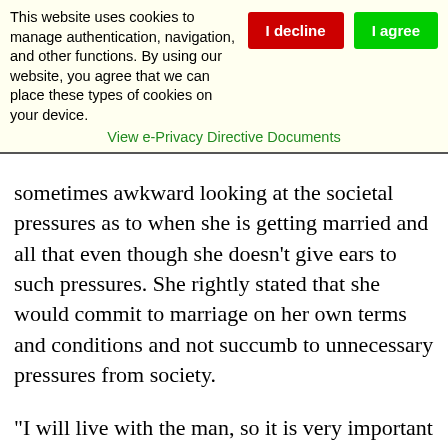This website uses cookies to manage authentication, navigation, and other functions. By using our website, you agree that we can place these types of cookies on your device. View e-Privacy Directive Documents
sometimes awkward looking at the societal pressures as to when she is getting married and all that even though she doesn't give ears to such pressures. She rightly stated that she would commit to marriage on her own terms and conditions and not succumb to unnecessary pressures from society.
“I will live with the man, so it is very important that I do it because I want to, not because society wants it for me”, Rita said.